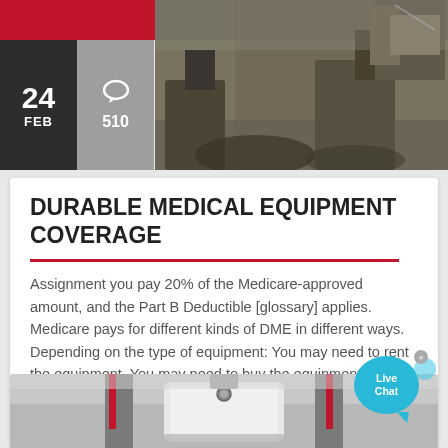[Figure (photo): Construction machinery/quarry scene at top of page with date overlay boxes showing '24 FEB' in dark box and comment icon with '510' in grey box]
DURABLE MEDICAL EQUIPMENT COVERAGE
Assignment you pay 20% of the Medicare-approved amount, and the Part B Deductible [glossary] applies. Medicare pays for different kinds of DME in different ways. Depending on the type of equipment: You may need to rent the equipment. You may need to buy the equipment. You may be able to choose whether to rent or buy the equipment.
[Figure (photo): Bottom image showing close-up of white industrial/medical equipment with red stripes and metal fittings]